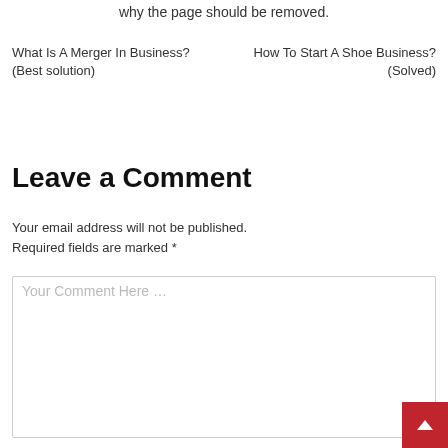why the page should be removed.
What Is A Merger In Business? (Best solution)
How To Start A Shoe Business? (Solved)
Leave a Comment
Your email address will not be published. Required fields are marked *
Your Comment Here …